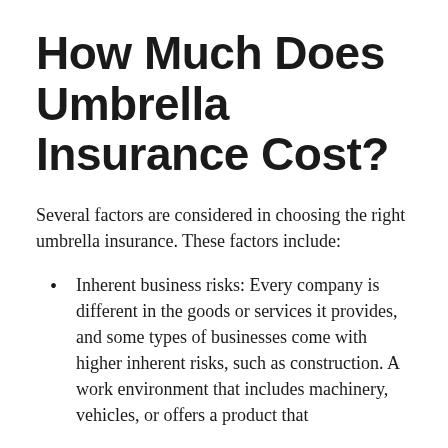How Much Does Umbrella Insurance Cost?
Several factors are considered in choosing the right umbrella insurance. These factors include:
Inherent business risks: Every company is different in the goods or services it provides, and some types of businesses come with higher inherent risks, such as construction. A work environment that includes machinery, vehicles, or offers a product that